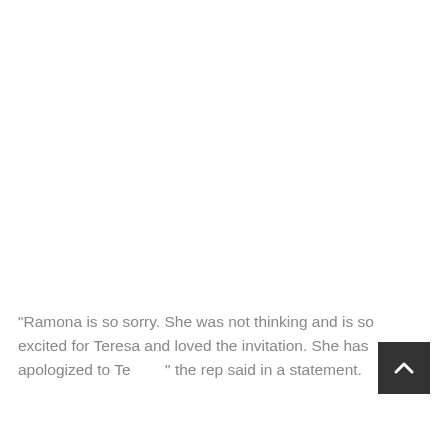“Ramona is so sorry. She was not thinking and is so excited for Teresa and loved the invitation. She has apologized to Te…” the rep said in a statement.